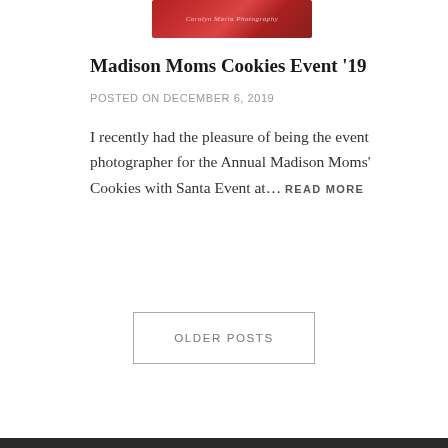[Figure (photo): Partial photo of red flowers (roses) with a watermark/logo overlay reading a photographer's name, cropped at top of page]
Madison Moms Cookies Event '19
POSTED ON DECEMBER 6, 2019
I recently had the pleasure of being the event photographer for the Annual Madison Moms' Cookies with Santa Event at… READ MORE
OLDER POSTS